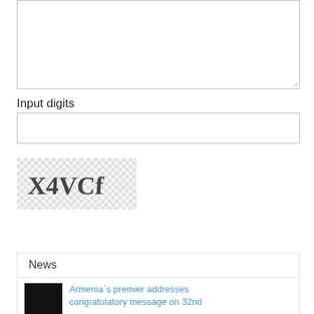[Figure (screenshot): Textarea input box, partially visible at top of page]
Input digits
[Figure (screenshot): Text input box for entering digits]
[Figure (other): CAPTCHA image showing distorted text: X4VCf on a checkered grey background]
Send
News
Armenia`s premier addresses congratulatory message on 32nd